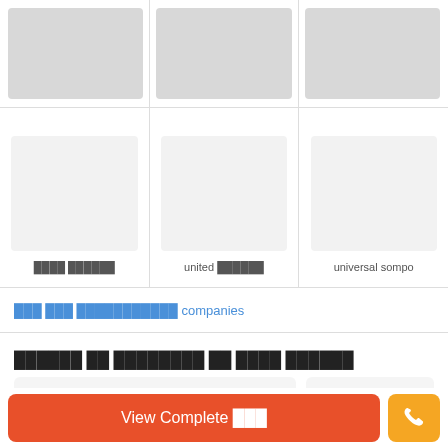[Figure (other): Top partially visible row of three insurance company logo placeholders (grey boxes)]
[Figure (other): Row of three insurance company logos: ████ ██████, united ██████, universal sompo]
███ ███ ███████████ companies
██████ ██ ████████ ██ ████ ██████
[Figure (other): Two card placeholders (light grey boxes) side by side]
View Complete ███